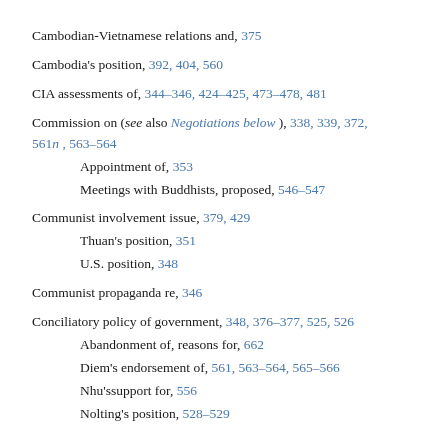Cambodian-Vietnamese relations and, 375
Cambodia's position, 392, 404, 560
CIA assessments of, 344–346, 424–425, 473–478, 481
Commission on (see also Negotiations below), 338, 339, 372, 561n, 563–564
Appointment of, 353
Meetings with Buddhists, proposed, 546–547
Communist involvement issue, 379, 429
Thuan's position, 351
U.S. position, 348
Communist propaganda re, 346
Conciliatory policy of government, 348, 376–377, 525, 526
Abandonment of, reasons for, 662
Diem's endorsement of, 561, 563–564, 565–566
Nhu's support for, 556
Nolting's position, 528–529